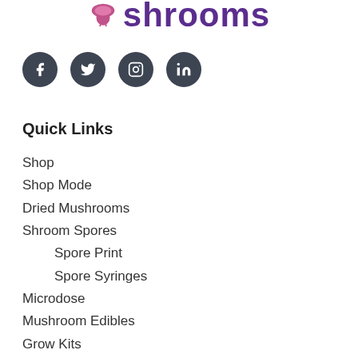[Figure (logo): Shrooms brand logo with stylized mushroom icon and purple text 'shrooms']
[Figure (infographic): Four dark circular social media icons: Facebook, Twitter, Instagram, LinkedIn]
Quick Links
Shop
Shop Mode
Dried Mushrooms
Shroom Spores
Spore Print
Spore Syringes
Microdose
Mushroom Edibles
Grow Kits
Truffles
More